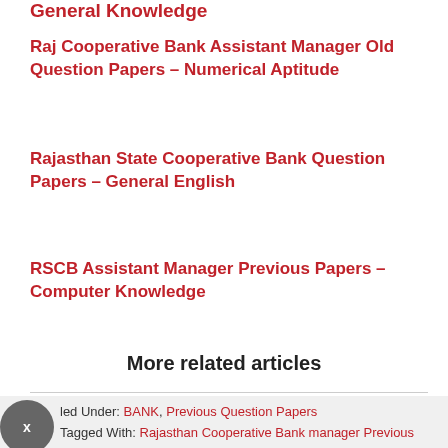General Knowledge
Raj Cooperative Bank Assistant Manager Old Question Papers – Numerical Aptitude
Rajasthan State Cooperative Bank Question Papers – General English
RSCB Assistant Manager Previous Papers – Computer Knowledge
More related articles
Filed Under: BANK, Previous Question Papers
Tagged With: Rajasthan Cooperative Bank manager Previous Papers Pdf, RSCB Assistant Manager Previous